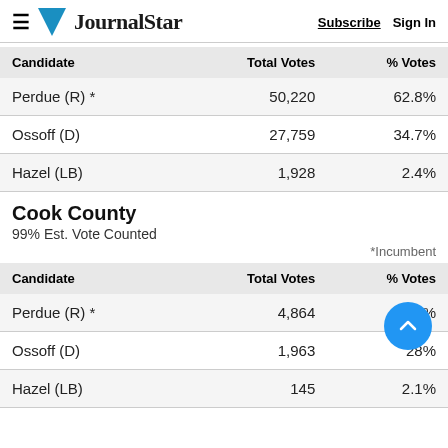JournalStar — Subscribe  Sign In
| Candidate | Total Votes | % Votes |
| --- | --- | --- |
| Perdue (R) * | 50,220 | 62.8% |
| Ossoff (D) | 27,759 | 34.7% |
| Hazel (LB) | 1,928 | 2.4% |
Cook County
99% Est. Vote Counted
*Incumbent
| Candidate | Total Votes | % Votes |
| --- | --- | --- |
| Perdue (R) * | 4,864 | 69.8% |
| Ossoff (D) | 1,963 | 28% |
| Hazel (LB) | 145 | 2.1% |